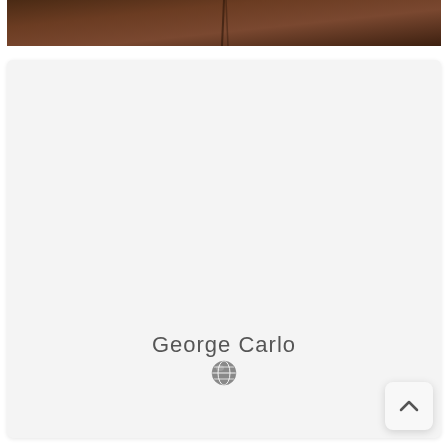[Figure (photo): Top portion of a dark brown image, likely a person wearing a brown jacket or clothing, partially cropped at the top of the page]
[Figure (photo): Large light gray card/panel with the name 'George Carlo' centered near the bottom, accompanied by a small globe icon below the name. A back-to-top button with an upward chevron is visible in the bottom-right corner.]
George Carlo